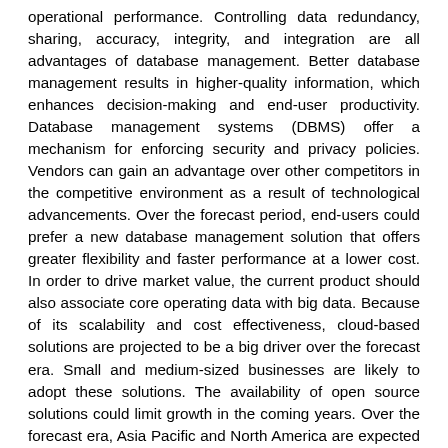operational performance. Controlling data redundancy, sharing, accuracy, integrity, and integration are all advantages of database management. Better database management results in higher-quality information, which enhances decision-making and end-user productivity. Database management systems (DBMS) offer a mechanism for enforcing security and privacy policies. Vendors can gain an advantage over other competitors in the competitive environment as a result of technological advancements. Over the forecast period, end-users could prefer a new database management solution that offers greater flexibility and faster performance at a lower cost. In order to drive market value, the current product should also associate core operating data with big data. Because of its scalability and cost effectiveness, cloud-based solutions are projected to be a big driver over the forecast era. Small and medium-sized businesses are likely to adopt these solutions. The availability of open source solutions could limit growth in the coming years. Over the forecast era, Asia Pacific and North America are expected to be the most important regional DBMS markets. In Asia Pacific, demand for cloud-based DBMS, also known as database as a service, is expected to grow
Key Market Players
The major players in the market are Oracle, Microsoft, IBM, SAP, Amazon AWS, among others. The report covers the market shares,